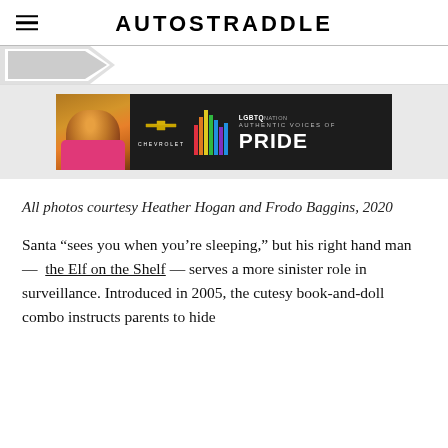AUTOSTRADDLE
[Figure (illustration): Decorative arrow/chevron graphic pointing right, partially visible at bottom of header area]
[Figure (photo): Advertisement banner: dark background featuring a person with large curly hair on the left, Chevrolet bowtie logo, multicolored vertical bars, and text reading 'LGBTQ NATION AUTHENTIC VOICES OF PRIDE']
All photos courtesy Heather Hogan and Frodo Baggins, 2020
Santa “sees you when you’re sleeping,” but his right hand man — the Elf on the Shelf — serves a more sinister role in surveillance. Introduced in 2005, the cutesy book-and-doll combo instructs parents to hide